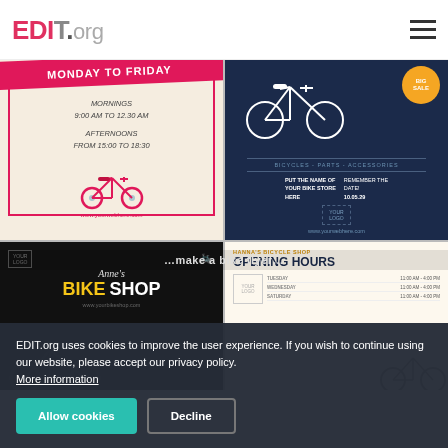EDIT.org
[Figure (illustration): Opening hours flyer: Monday to Friday, Mornings 9:00 AM to 12:30 AM, Afternoons from 15:00 to 18:30, with a pink bicycle graphic and www.yourwebhere.com]
[Figure (illustration): Bike shop BIG SALE flyer on dark navy background with bicycle line art, orange badge saying BIG SALE, text: BICYCLES - PARTS - ACCESSORIES, PUT THE NAME OF YOUR BIKE STORE HERE, REMEMBER THE DATE! 10.05.29, YOUR LOGO placeholder, www.yourwebhere.com]
[Figure (illustration): Anne's BIKE SHOP dark themed flyer with yellow and white text on black background, bike icon, YOUR LOGO placeholder, www.yourbikeshop.com]
[Figure (illustration): HANNA'S BICYCLE SHOP Opening Hours flyer on light background with schedule: TUESDAY 11:00 AM - 4:00 PM, WEDNESDAY 11:00 AM - 4:00 PM, SATURDAY 11:00 AM - 4:00 PM, YOUR LOGO placeholder, bicycle image]
EDIT.org uses cookies to improve the user experience. If you wish to continue using our website, please accept our privacy policy. More information
Allow cookies
Decline